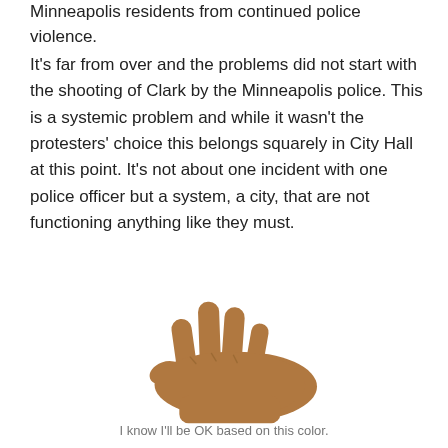Minneapolis residents from continued police violence.
It's far from over and the problems did not start with the shooting of Clark by the Minneapolis police. This is a systemic problem and while it wasn't the protesters' choice this belongs squarely in City Hall at this point. It's not about one incident with one police officer but a system, a city, that are not functioning anything like they must.
[Figure (photo): A hand with four fingers extended and thumb tucked, showing the palm side, with a medium-brown skin tone against a white background.]
I know I'll be OK based on this color.